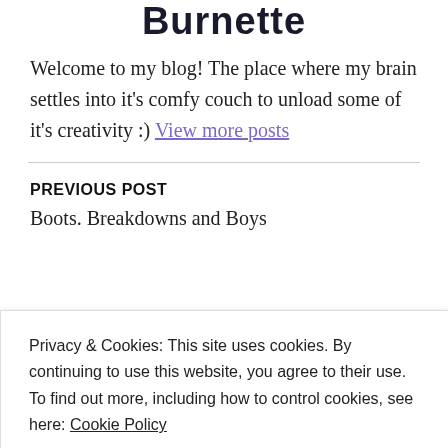Burnette
Welcome to my blog! The place where my brain settles into it's comfy couch to unload some of it's creativity :) View more posts
PREVIOUS POST
Boots. Breakdowns and Boys
Privacy & Cookies: This site uses cookies. By continuing to use this website, you agree to their use. To find out more, including how to control cookies, see here: Cookie Policy
Close and accept